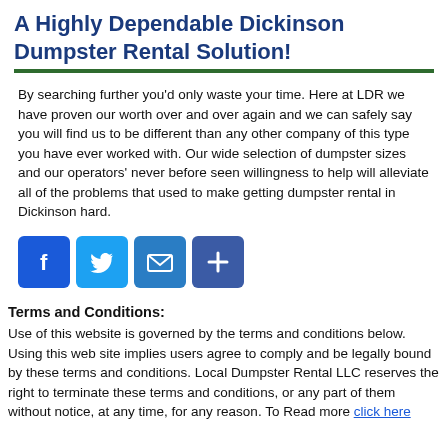A Highly Dependable Dickinson Dumpster Rental Solution!
By searching further you'd only waste your time. Here at LDR we have proven our worth over and over again and we can safely say you will find us to be different than any other company of this type you have ever worked with. Our wide selection of dumpster sizes and our operators' never before seen willingness to help will alleviate all of the problems that used to make getting dumpster rental in Dickinson hard.
[Figure (infographic): Four social sharing icon buttons: Facebook (blue), Twitter (light blue), Email (blue), and a plus/share button (dark blue)]
Terms and Conditions:
Use of this website is governed by the terms and conditions below. Using this web site implies users agree to comply and be legally bound by these terms and conditions. Local Dumpster Rental LLC reserves the right to terminate these terms and conditions, or any part of them without notice, at any time, for any reason. To Read more click here